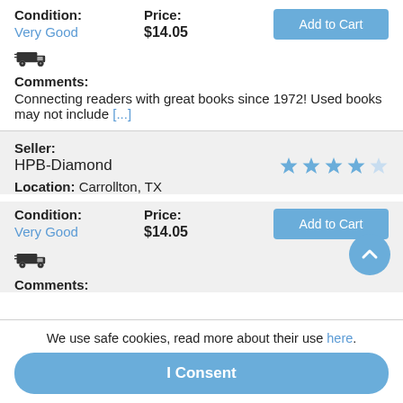Condition: Very Good | Price: $14.05 | Add to Cart
[Figure (illustration): Truck shipping icon]
Comments: Connecting readers with great books since 1972! Used books may not include [...]
Seller: HPB-Diamond (4 stars out of 5)
Location: Carrollton, TX
Condition: Very Good | Price: $14.05 | Add to Cart
[Figure (illustration): Truck shipping icon]
Comments:
We use safe cookies, read more about their use here.
I Consent